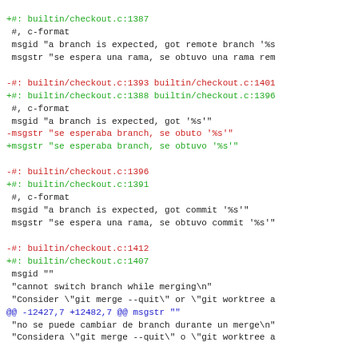Diff output showing changes to builtin/checkout.c translation file (PO file diff)